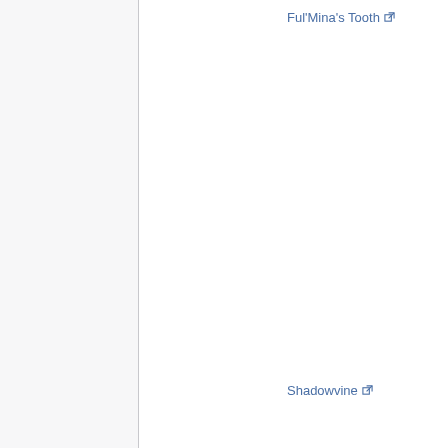Ful'Mina's Tooth [external link]
Shadowvine [external link]